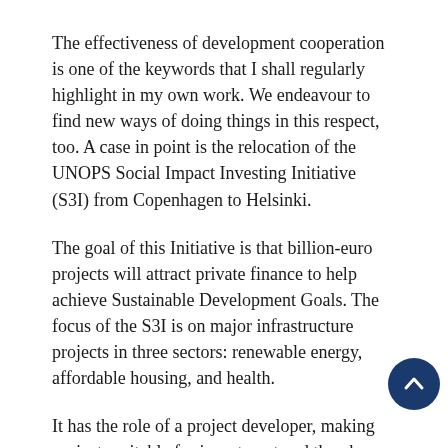The effectiveness of development cooperation is one of the keywords that I shall regularly highlight in my own work. We endeavour to find new ways of doing things in this respect, too. A case in point is the relocation of the UNOPS Social Impact Investing Initiative (S3I) from Copenhagen to Helsinki.
The goal of this Initiative is that billion-euro projects will attract private finance to help achieve Sustainable Development Goals. The focus of the S3I is on major infrastructure projects in three sectors: renewable energy, affordable housing, and health.
It has the role of a project developer, making projects suitable for investment and thereby attracting private investor finance. This UNOPS programme has considerable potential in terms of Finland's development policy and export promotion goals.